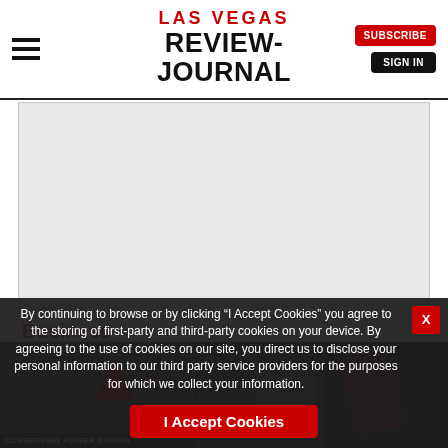LAS VEGAS REVIEW-JOURNAL | SUBSCRIBE | SIGN IN
[Figure (other): Gray advertisement placeholder banner]
Business
[Figure (photo): Bottom row of article thumbnail images including NV Energy logo and CONSERVING POWER DURING caption]
By continuing to browse or by clicking “I Accept Cookies” you agree to the storing of first-party and third-party cookies on your device. By agreeing to the use of cookies on our site, you direct us to disclose your personal information to our third party service providers for the purposes for which we collect your information.
I Accept Cookies